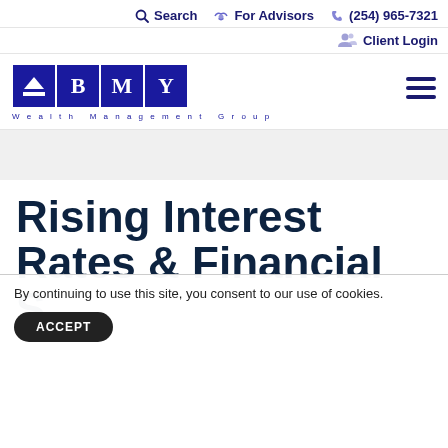Search   For Advisors   (254) 965-7321
Client Login
[Figure (logo): BMY Wealth Management Group logo — four dark blue squares with pyramid icon, B, M, Y letters; tagline 'Wealth Management Group' below]
Rising Interest Rates & Financial S...
By continuing to use this site, you consent to our use of cookies.
ACCEPT